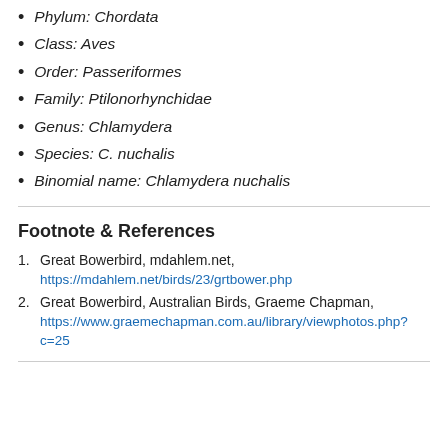Phylum: Chordata
Class: Aves
Order: Passeriformes
Family: Ptilonorhynchidae
Genus: Chlamydera
Species: C. nuchalis
Binomial name: Chlamydera nuchalis
Footnote & References
1. Great Bowerbird, mdahlem.net, https://mdahlem.net/birds/23/grtbower.php
2. Great Bowerbird, Australian Birds, Graeme Chapman, https://www.graemechapman.com.au/library/viewphotos.php?c=25